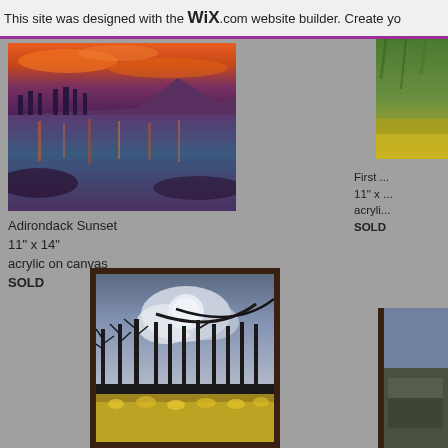This site was designed with the WiX.com website builder. Create yo
[Figure (photo): Painting of Adirondack Sunset - a lake scene with orange and purple sky reflected in water, silhouettes of trees]
Adirondack Sunset
11" x 14"
acrylic on canvas
SOLD
[Figure (photo): Partial painting visible on right side - appears to be a green and yellow landscape]
First ...
11" x ...
acryli...
SOLD
[Figure (photo): Framed painting of trees with bare branches, cattails, full moon in blue-grey sky, yellow flowers at bottom]
[Figure (photo): Partial framed painting visible at bottom right edge]